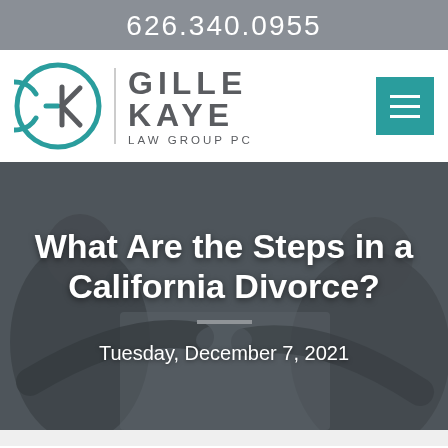626.340.0955
[Figure (logo): Gille Kaye Law Group PC logo with stylized GK monogram in teal/grey circle, firm name in grey, and teal hamburger menu button]
What Are the Steps in a California Divorce?
Tuesday, December 7, 2021